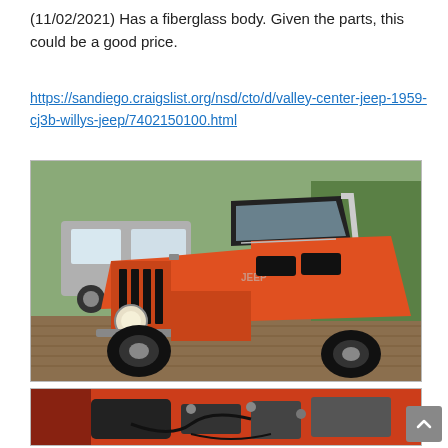(11/02/2021) Has a fiberglass body. Given the parts, this could be a good price.
https://sandiego.craigslist.org/nsd/cto/d/valley-center-jeep-1959-cj3b-willys-jeep/7402150100.html
[Figure (photo): Front view of a red/orange vintage Willys Jeep CJ3B on a wooden deck surface, with a silver SUV visible in the background]
[Figure (photo): Partial view of red Jeep engine bay with parts visible]